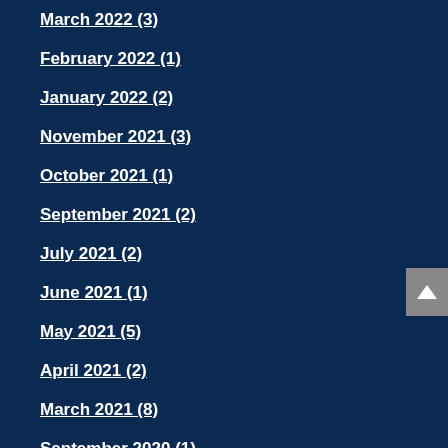March 2022 (3)
February 2022 (1)
January 2022 (2)
November 2021 (3)
October 2021 (1)
September 2021 (2)
July 2021 (2)
June 2021 (1)
May 2021 (5)
April 2021 (2)
March 2021 (8)
September 2020 (1)
August 2020 (2)